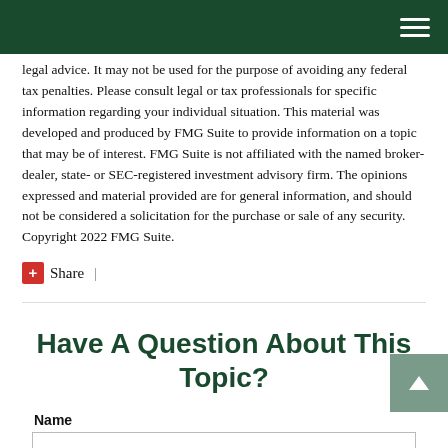Navigation header bar with hamburger menu
legal advice. It may not be used for the purpose of avoiding any federal tax penalties. Please consult legal or tax professionals for specific information regarding your individual situation. This material was developed and produced by FMG Suite to provide information on a topic that may be of interest. FMG Suite is not affiliated with the named broker-dealer, state- or SEC-registered investment advisory firm. The opinions expressed and material provided are for general information, and should not be considered a solicitation for the purchase or sale of any security. Copyright 2022 FMG Suite.
Share |
Have A Question About This Topic?
Name